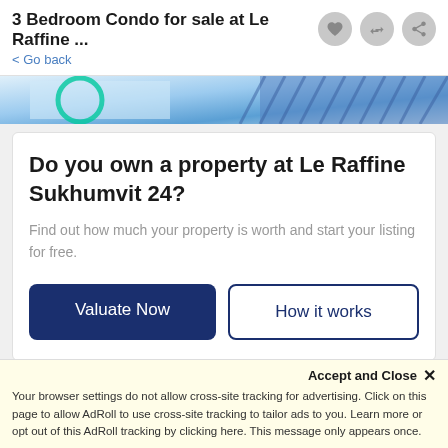3 Bedroom Condo for sale at Le Raffine ...
< Go back
[Figure (photo): Partial image strip showing abstract blue and green graphic design elements]
Do you own a property at Le Raffine Sukhumvit 24?
Find out how much your property is worth and start your listing for free.
Valuate Now
How it works
3.3 out of 5
Accept and Close ✕
Your browser settings do not allow cross-site tracking for advertising. Click on this page to allow AdRoll to use cross-site tracking to tailor ads to you. Learn more or opt out of this AdRoll tracking by clicking here. This message only appears once.